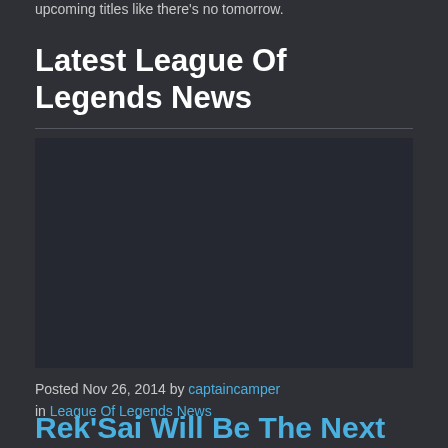upcoming titles like there's no tomorrow.
Latest League Of Legends News
[Figure (other): Dark advertisement or image placeholder block]
Posted Nov 26, 2014 by captaincamper
in League Of Legends News
Rek'Sai Will Be The Next Champion Introduced To League Of Legends